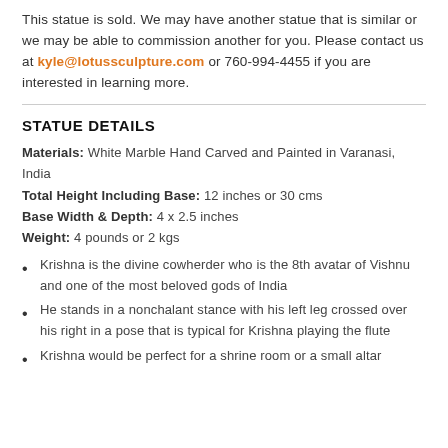This statue is sold. We may have another statue that is similar or we may be able to commission another for you. Please contact us at kyle@lotussculpture.com or 760-994-4455 if you are interested in learning more.
STATUE DETAILS
Materials: White Marble Hand Carved and Painted in Varanasi, India
Total Height Including Base: 12 inches or 30 cms
Base Width & Depth: 4 x 2.5 inches
Weight: 4 pounds or 2 kgs
Krishna is the divine cowherder who is the 8th avatar of Vishnu and one of the most beloved gods of India
He stands in a nonchalant stance with his left leg crossed over his right in a pose that is typical for Krishna playing the flute
Krishna would be perfect for a shrine room or a small altar